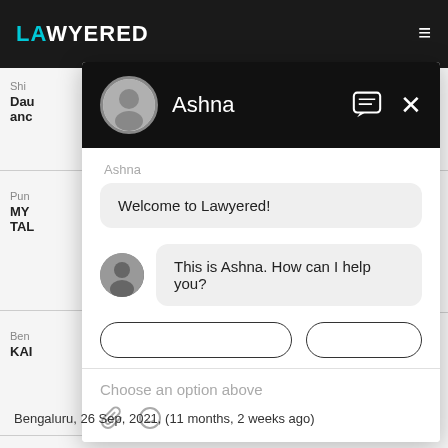[Figure (screenshot): Screenshot of the Lawyered website with a chat widget overlay. The website shows a dark top navigation bar with the 'LAWYERED' logo. A floating chat popup is open showing a conversation with an AI assistant named Ashna. The chat shows two messages: 'Welcome to Lawyered!' and 'This is Ashna. How can I help you?' with quick reply buttons and an input area that says 'Choose an option above'.]
Bengaluru, 26 Sep, 2021, (11 months, 2 weeks ago)